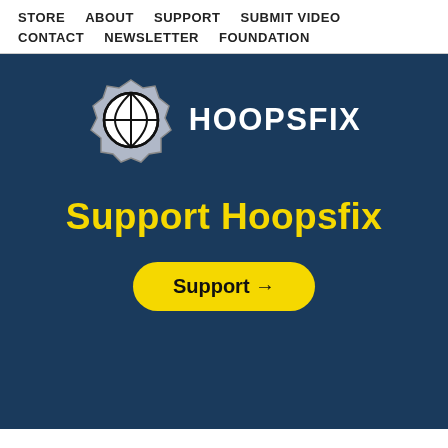STORE   ABOUT   SUPPORT   SUBMIT VIDEO   CONTACT   NEWSLETTER   FOUNDATION
[Figure (logo): Hoopsfix logo: basketball inside a silver gear/shield emblem, with HOOPSFIX text to the right in white bold uppercase letters]
Support Hoopsfix
Support →